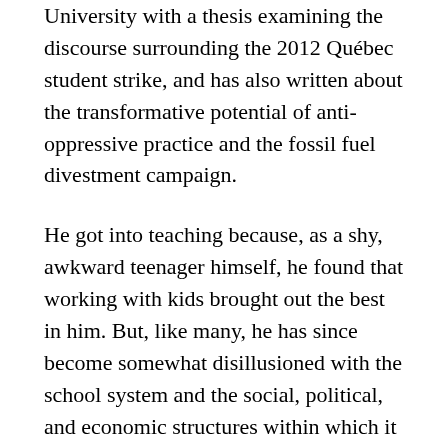University with a thesis examining the discourse surrounding the 2012 Québec student strike, and has also written about the transformative potential of anti-oppressive practice and the fossil fuel divestment campaign.
He got into teaching because, as a shy, awkward teenager himself, he found that working with kids brought out the best in him. But, like many, he has since become somewhat disillusioned with the school system and the social, political, and economic structures within which it operates. He now finds himself looking for ways to contribute to either radically transforming those structures or, where that isn't possible, developing